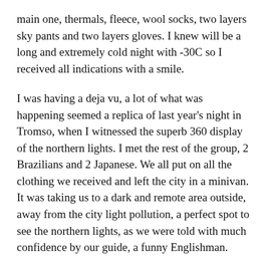main one, thermals, fleece, wool socks, two layers sky pants and two layers gloves. I knew will be a long and extremely cold night with -30C so I received all indications with a smile.
I was having a deja vu, a lot of what was happening seemed a replica of last year's night in Tromso, when I witnessed the superb 360 display of the northern lights. I met the rest of the group, 2 Brazilians and 2 Japanese. We all put on all the clothing we received and left the city in a minivan. It was taking us to a dark and remote area outside, away from the city light pollution, a perfect spot to see the northern lights, as we were told with much confidence by our guide, a funny Englishman.
The sky was perfectly clear and the night so dark. Was I that lucky? It seemed the beginning of a perfect night. We drove for about 45 min on a narrow icy road, sneaking through the pine forest. We were told we might see some wildlife